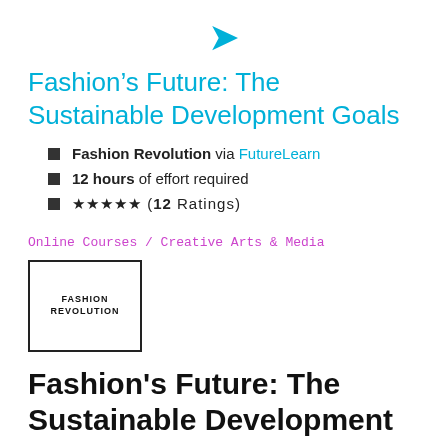[Figure (logo): Cyan chevron/arrow pointing right]
Fashion’s Future: The Sustainable Development Goals
Fashion Revolution via FutureLearn
12 hours of effort required
★★★★★ (12 Ratings)
Online Courses / Creative Arts & Media
[Figure (logo): Fashion Revolution logo in a square border]
Fashion's Future: The Sustainable Development